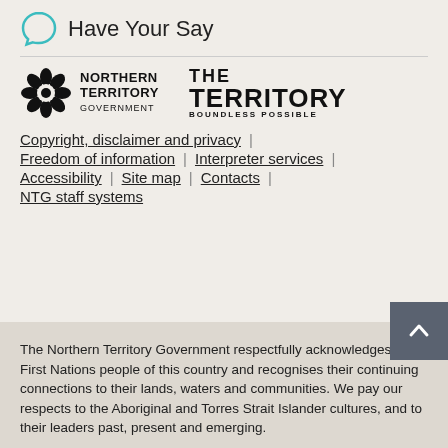Have Your Say
[Figure (logo): Northern Territory Government logo with flower emblem and 'THE TERRITORY BOUNDLESS POSSIBLE' logo]
Copyright, disclaimer and privacy | Freedom of information | Interpreter services | Accessibility | Site map | Contacts | NTG staff systems
The Northern Territory Government respectfully acknowledges the First Nations people of this country and recognises their continuing connections to their lands, waters and communities. We pay our respects to the Aboriginal and Torres Strait Islander cultures, and to their leaders past, present and emerging.